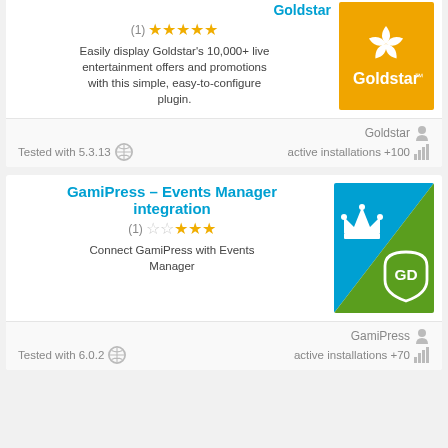Goldstar
(1) ★★★★★
Easily display Goldstar's 10,000+ live entertainment offers and promotions with this simple, easy-to-configure plugin.
[Figure (logo): Goldstar logo: yellow/orange background with white star-flower icon and 'Goldstar' text]
Goldstar
Tested with 5.3.13   active installations +100
GamiPress – Events Manager integration
(1) ☆☆★★★
Connect GamiPress with Events Manager
[Figure (logo): GamiPress – Events Manager integration logo: blue and green diagonal split with white crown and shield icons]
GamiPress
Tested with 6.0.2   active installations +70